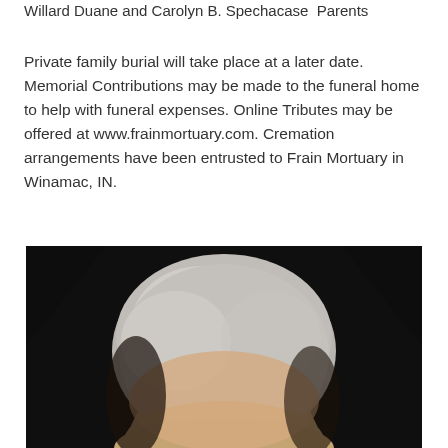Willard Duane and Carolyn B. Spechacase  Parents
Private family burial will take place at a later date. Memorial Contributions may be made to the funeral home to help with funeral expenses. Online Tributes may be offered at www.frainmortuary.com. Cremation arrangements have been entrusted to Frain Mortuary in Winamac, IN.
[Figure (photo): Portrait photograph of an elderly man with white/grey hair against a dark background, showing head and upper portion of face]